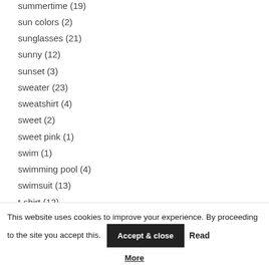summertime (19)
sun colors (2)
sunglasses (21)
sunny (12)
sunset (3)
sweater (23)
sweatshirt (4)
sweet (2)
sweet pink (1)
swim (1)
swimming pool (4)
swimsuit (13)
t-shirt (12)
Tally Weijl (3)
tangerine (1)
This website uses cookies to improve your experience. By proceeding to the site you accept this. Accept & close Read More